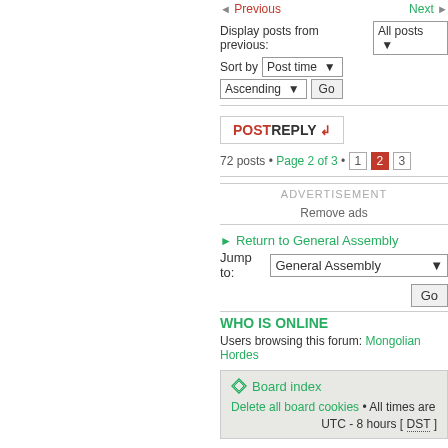< Previous   Next >
Display posts from previous: All posts ▾
Sort by Post time ▾
Ascending ▾  Go
POSTREPLY ↲
72 posts • Page 2 of 3 • 1 2 3
ADVERTISEMENT
Remove ads
Return to General Assembly
Jump to: General Assembly ▾  Go
WHO IS ONLINE
Users browsing this forum: Mongolian Hordes
Board index
Delete all board cookies • All times are UTC - 8 hours [ DST ]